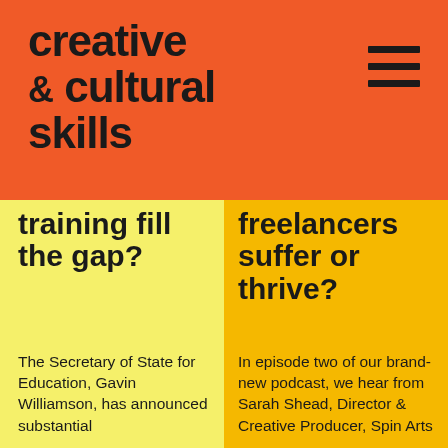creative & cultural skills
training fill the gap?
The Secretary of State for Education, Gavin Williamson, has announced substantial
freelancers suffer or thrive?
In episode two of our brand-new podcast, we hear from Sarah Shead, Director & Creative Producer, Spin Arts